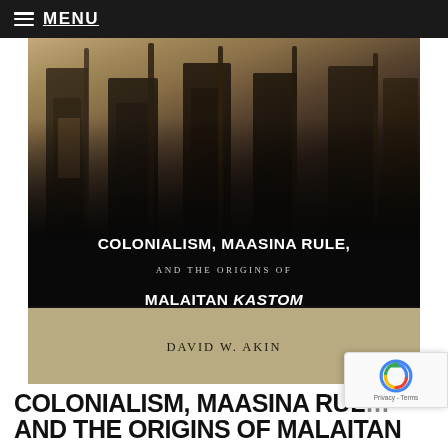MENU
[Figure (photo): Book cover for 'Colonialism, Maasina Rule, and the Origins of Malaitan Kastom' by David W. Akin. Black and white/sepia photograph showing legs of several people, some carrying rifles. Title text overlaid on dark lower portion of cover image. Author name in a tan/khaki band at bottom of cover.]
COLONIALISM, MAASINA RULE, AND THE ORIGINS OF MALAITAN